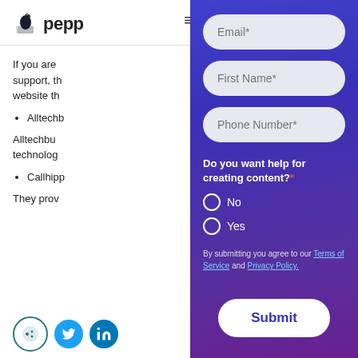[Figure (logo): Peppertype.ai logo with ink bottle icon and partial text 'peppe']
If you are ... support, th... website th...
Alltechb...
Alltechbu... technolog...
Callhipp...
They prov...
[Figure (screenshot): Modal overlay form on purple/violet gradient background with fields: Email*, First Name*, Phone Number*, radio buttons for 'Do you want help for creating content?*' (No/Yes), terms text, and Submit button]